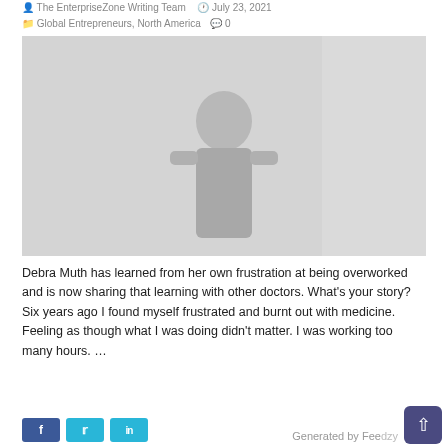The EnterpriseZone Writing Team  July 23, 2021
Global Entrepreneurs, North America  0
[Figure (photo): A faded/light photo of a person standing indoors, appearing to be Debra Muth.]
Debra Muth has learned from her own frustration at being overworked and is now sharing that learning with other doctors. What's your story? Six years ago I found myself frustrated and burnt out with medicine. Feeling as though what I was doing didn't matter. I was working too many hours. …
Read More »
Generated by Feedzy